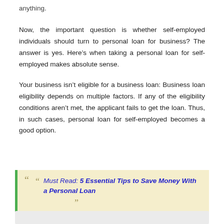anything.
Now, the important question is whether self-employed individuals should turn to personal loan for business? The answer is yes. Here's when taking a personal loan for self-employed makes absolute sense.
Your business isn't eligible for a business loan: Business loan eligibility depends on multiple factors. If any of the eligibility conditions aren't met, the applicant fails to get the loan. Thus, in such cases, personal loan for self-employed becomes a good option.
Must Read: 5 Essential Tips to Save Money With a Personal Loan